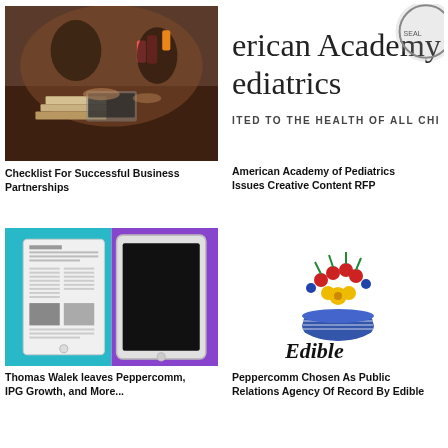[Figure (photo): People sitting around a table with drinks, books, and papers — business meeting or study group scene]
Checklist For Successful Business Partnerships
[Figure (logo): American Academy of Pediatrics logo with seal — partial view showing text 'erican Academy ediatrics' and 'ITED TO THE HEALTH OF ALL CHI']
American Academy of Pediatrics Issues Creative Content RFP
[Figure (illustration): Tablet/iPad device on a teal and purple background showing a newspaper-style layout]
Thomas Walek leaves Peppercomm, IPG Growth, and More...
[Figure (logo): Edible Arrangements logo with colorful flower basket above stylized text 'Edible ARRANGEMENTS']
Peppercomm Chosen As Public Relations Agency Of Record By Edible Arrangements